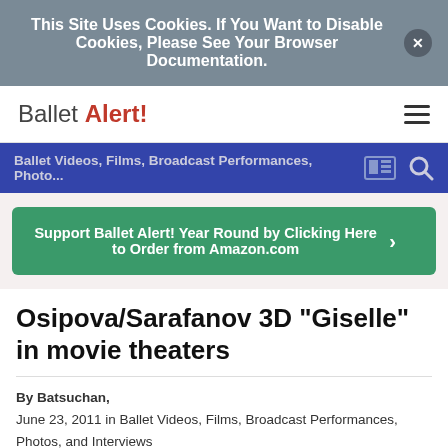This Site Uses Cookies. If You Want to Disable Cookies, Please See Your Browser Documentation.
[Figure (logo): Ballet Alert! logo with hamburger menu icon]
Ballet Videos, Films, Broadcast Performances, Photo...
Support Ballet Alert! Year Round by Clicking Here to Order from Amazon.com
Osipova/Sarafanov 3D "Giselle" in movie theaters
By Batsuchan,
June 23, 2011 in Ballet Videos, Films, Broadcast Performances, Photos, and Interviews